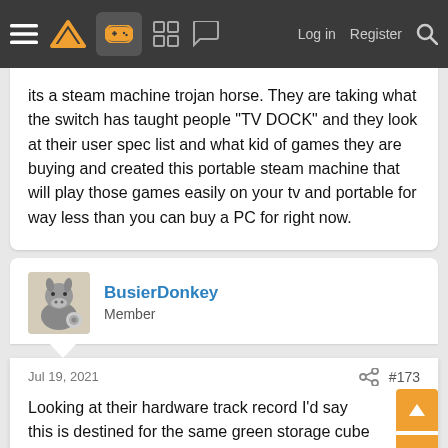Navigation bar: hamburger menu, logo, gamepad icon (active), grid icon, chat icon, Log in, Register, Search
its a steam machine trojan horse. They are taking what the switch has taught people "TV DOCK" and they look at their user spec list and what kid of games they are buying and created this portable steam machine that will play those games easily on your tv and portable for way less than you can buy a PC for right now.
BusierDonkey
Member
Jul 19, 2021  #173
Looking at their hardware track record I'd say this is destined for the same green storage cube my Steam controller and Steam Link are sitting in.
chorizosausage#374